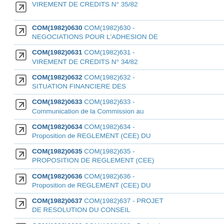VIREMENT DE CREDITS N° 35/82
COM(1982)0630 COM(1982)630 - NEGOCIATIONS POUR L'ADHESION DE
COM(1982)0631 COM(1982)631 - VIREMENT DE CREDITS N° 34/82
COM(1982)0632 COM(1982)632 - SITUATION FINANCIERE DES
COM(1982)0633 COM(1982)633 - Communication de la Commission au
COM(1982)0634 COM(1982)634 - Proposition de REGLEMENT (CEE) DU
COM(1982)0635 COM(1982)635 - PROPOSITION DE REGLEMENT (CEE)
COM(1982)0636 COM(1982)636 - Proposition de REGLEMENT (CEE) DU
COM(1982)0637 COM(1982)637 - PROJET DE RESOLUTION DU CONSEIL
COM(1982)0638 COM(1982)638 - Projet de DECISION DU CONSEIL modifiant la liste
COM(1982)0639 COM(1982)639 -